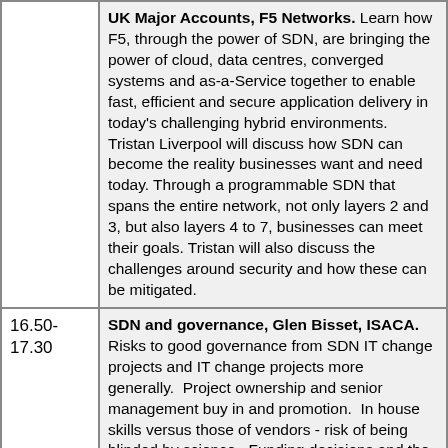| Time | Session |
| --- | --- |
|  | UK Major Accounts, F5 Networks. Learn how F5, through the power of SDN, are bringing the power of cloud, data centres, converged systems and as-a-Service together to enable fast, efficient and secure application delivery in today's challenging hybrid environments. Tristan Liverpool will discuss how SDN can become the reality businesses want and need today. Through a programmable SDN that spans the entire network, not only layers 2 and 3, but also layers 4 to 7, businesses can meet their goals. Tristan will also discuss the challenges around security and how these can be mitigated. |
| 16.50-17.30 | SDN and governance, Glen Bisset, ISACA. Risks to good governance from SDN IT change projects and IT change projects more generally.  Project ownership and senior management buy in and promotion.  In house skills versus those of vendors - risk of being blinded by science.  Funding decisions and the costs of changing in the future - how flexible |